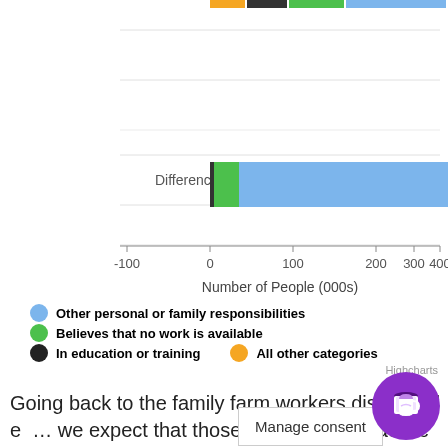[Figure (bar-chart): ]
Going back to the family farm workers discussed earlier, we expect that those classified as inactive would be included in the 'Other personal or family responsibilities' category. However...
Manage consent